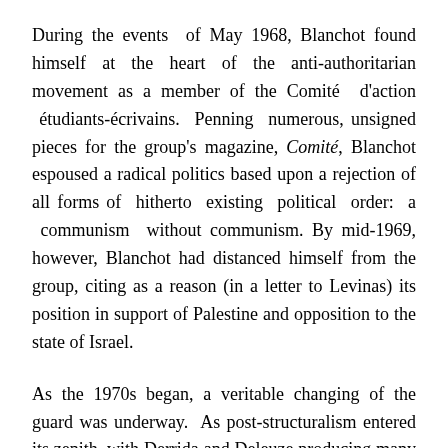During the events of May 1968, Blanchot found himself at the heart of the anti-authoritarian movement as a member of the Comité d'action étudiants-écrivains. Penning numerous, unsigned pieces for the group's magazine, Comité, Blanchot espoused a radical politics based upon a rejection of all forms of hitherto existing political order: a communism without communism. By mid-1969, however, Blanchot had distanced himself from the group, citing as a reason (in a letter to Levinas) its position in support of Palestine and opposition to the state of Israel.
As the 1970s began, a veritable changing of the guard was underway. As post-structuralism entered its zenith, with Derrida and Deleuze producing many of their seminal writings, Blanchot's health began to decline precipitously and death seemed all around him. Jean Paulhan passed away in 1969, then Paul Celan drowned himself in the Seine in April 1970. Blanchot himself endured hospitalization in the early 1970s,